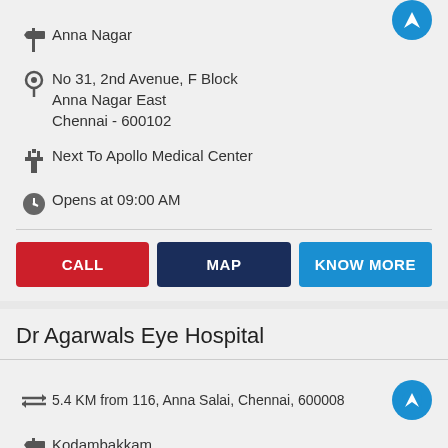Anna Nagar
No 31, 2nd Avenue, F Block
Anna Nagar East
Chennai - 600102
Next To Apollo Medical Center
Opens at 09:00 AM
CALL
MAP
KNOW MORE
Dr Agarwals Eye Hospital
5.4 KM from 116, Anna Salai, Chennai, 600008
Kodambakkam
No 33, Dr Ambedkar Road
Kodambakkam